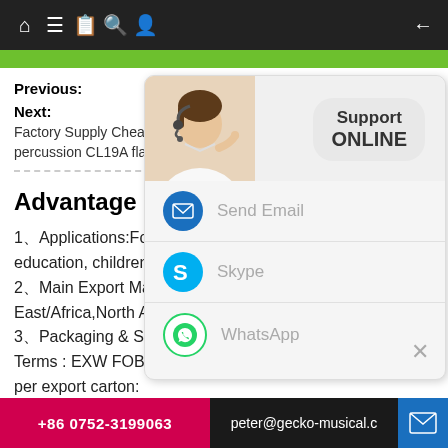Navigation bar with home, menu, book, search, profile, back icons
[Figure (screenshot): Support ONLINE popup with customer service photo, Send Email, Skype, WhatsApp options and close button]
Previous:
Next:
Factory Supply Cheap Handmade Electric Gu percussion CL19A flame decal wooden cajon
Advantage
1、Applications:For party, music concert, education, children, young people, musician...
2、Main Export Markets:Asia Australia,Europe Mid East/Africa,North America Central/South America
3、Packaging & Shipping
Terms : EXW FOB: Shenzhen Lead Time:15-30 days Units per export carton:
Gross weight:Dimensions per Unit : 36*35*54cm
+86 0752-3199063   peter@gecko-musical.c